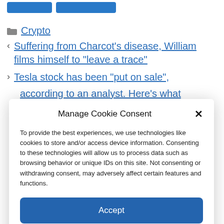Crypto
< Suffering from Charcot's disease, William films himself to "leave a trace"
> Tesla stock has been "put on sale", according to an analyst. Here's what
Manage Cookie Consent
To provide the best experiences, we use technologies like cookies to store and/or access device information. Consenting to these technologies will allow us to process data such as browsing behavior or unique IDs on this site. Not consenting or withdrawing consent, may adversely affect certain features and functions.
Accept
Cookie Policy